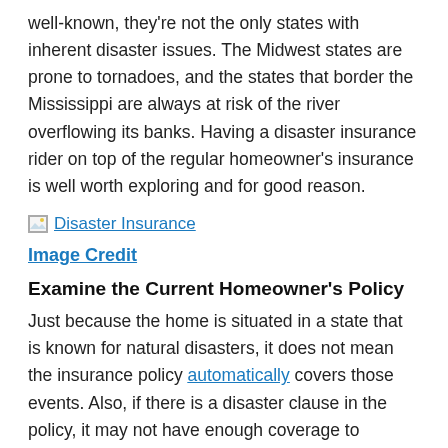well-known, they're not the only states with inherent disaster issues. The Midwest states are prone to tornadoes, and the states that border the Mississippi are always at risk of the river overflowing its banks. Having a disaster insurance rider on top of the regular homeowner's insurance is well worth exploring and for good reason.
[Figure (photo): Broken image placeholder link labeled 'Disaster Insurance']
Image Credit
Examine the Current Homeowner's Policy
Just because the home is situated in a state that is known for natural disasters, it does not mean the insurance policy automatically covers those events. Also, if there is a disaster clause in the policy, it may not have enough coverage to